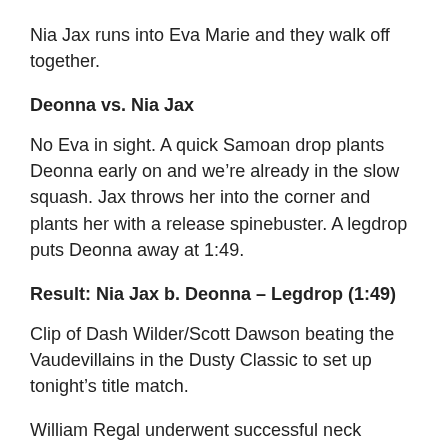Nia Jax runs into Eva Marie and they walk off together.
Deonna vs. Nia Jax
No Eva in sight. A quick Samoan drop plants Deonna early on and we’re already in the slow squash. Jax throws her into the corner and plants her with a release spinebuster. A legdrop puts Deonna away at 1:49.
Result: Nia Jax b. Deonna – Legdrop (1:49)
Clip of Dash Wilder/Scott Dawson beating the Vaudevillains in the Dusty Classic to set up tonight’s title match.
William Regal underwent successful neck surgery. No word on how long he’s out.